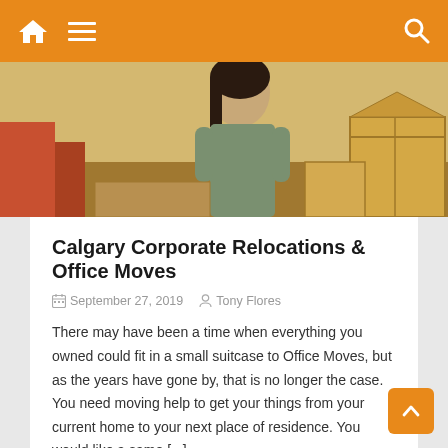Navigation bar with home, menu, and search icons
[Figure (photo): Hero image showing a person packing boxes, likely for a move]
Calgary Corporate Relocations & Office Moves
September 27, 2019  Tony Flores
There may have been a time when everything you owned could fit in a small suitcase to Office Moves, but as the years have gone by, that is no longer the case. You need moving help to get your things from your current home to your next place of residence. You would like a same [...]
Continue Reading